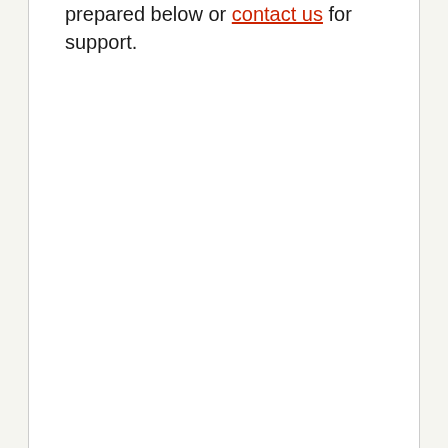prepared below or contact us for support.